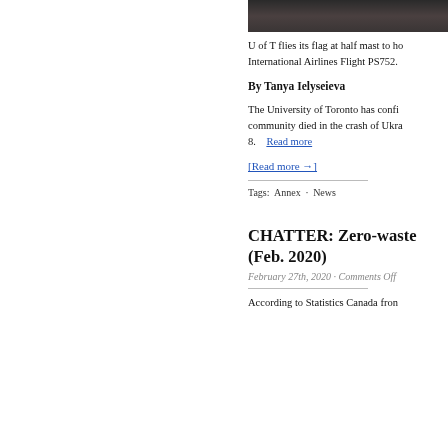[Figure (photo): Dark photo, likely a flag or campus scene at dusk]
U of T flies its flag at half mast to ho... International Airlines Flight PS752.
By Tanya Ielyseieva
The University of Toronto has confi... community died in the crash of Ukra... 8.    Read more
[Read more →]
Tags:  Annex  ·  News
CHATTER: Zero-waste (Feb. 2020)
February 27th, 2020 · Comments Off
According to Statistics Canada fron...